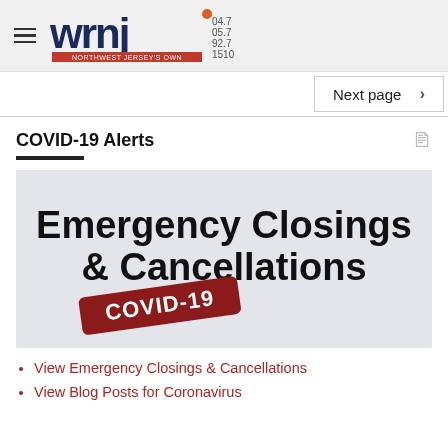WRNJ 104.7 105.7 92.7 1510 NORTHWEST JERSEY'S OWN
Next page >
COVID-19 Alerts
[Figure (illustration): Emergency Closings & Cancellations COVID-19 banner image with bold black text on light gray background and a red COVID-19 stamp/badge]
View Emergency Closings & Cancellations
View Blog Posts for Coronavirus